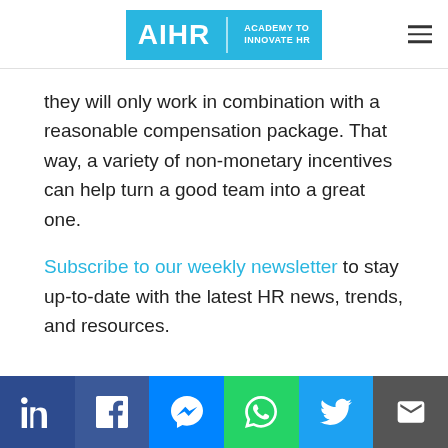AIHR | ACADEMY TO INNOVATE HR
they will only work in combination with a reasonable compensation package. That way, a variety of non-monetary incentives can help turn a good team into a great one.
Subscribe to our weekly newsletter to stay up-to-date with the latest HR news, trends, and resources.
Social share bar: LinkedIn, Facebook, Messenger, WhatsApp, Twitter, Email